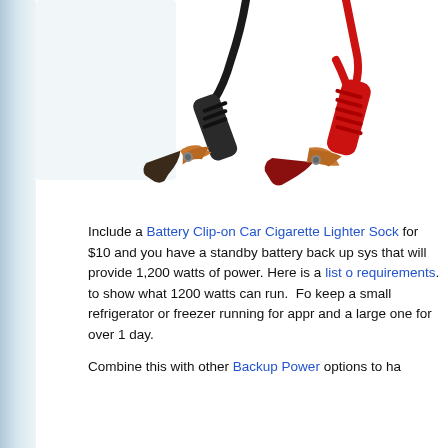[Figure (photo): Battery clip-on alligator clamps — black and red jumper cable clips with copper jaws, photographed against a white background. The black clip is on the left, the red clip is on the right.]
Include a Battery Clip-on Car Cigarette Lighter Socket for $10 and you have a standby battery back up system that will provide 1,200 watts of power. Here is a list of requirements. to show what 1200 watts can run. For keep a small refrigerator or freezer running for appro and a large one for over 1 day.
Combine this with other Backup Power options to ha